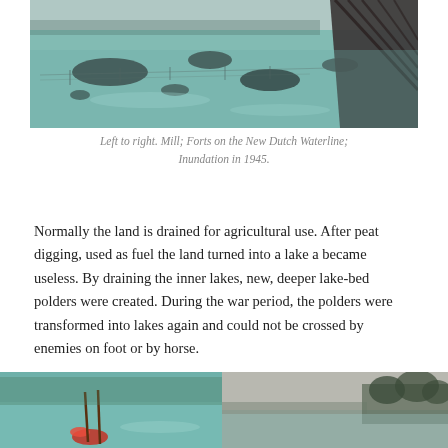[Figure (photo): Panoramic black and white photo with teal/green tinted water showing flooded landscape with islands of dark land visible above water, likely a Dutch polder inundation scene. A wooden structure is visible on the right edge.]
Left to right. Mill; Forts on the New Dutch Waterline; Inundation in 1945.
Normally the land is drained for agricultural use. After peat digging, used as fuel the land turned into a lake a became useless. By draining the inner lakes, new, deeper lake-bed polders were created. During the war period, the polders were transformed into lakes again and could not be crossed by enemies on foot or by horse.
[Figure (photo): Color photo showing flooded area with teal/green water, red object visible in foreground]
[Figure (photo): Black and white photo showing flooded landscape with trees visible in background]